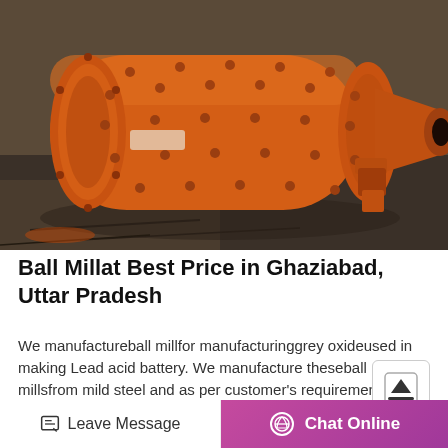[Figure (photo): Orange industrial ball mill machine lying on a dark plastic sheet. The cylinder body has bolted flanges and a conical end cap.]
Ball Millat Best Price in Ghaziabad, Uttar Pradesh
We manufactureball millfor manufacturinggrey oxideused in making Lead acid battery. We manufacture theseball millsfrom mild steel and as per customer's requirement.
MORE DETAILS
Leave Message
Chat Online